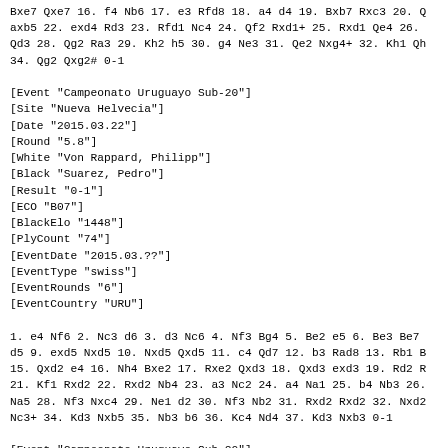Bxe7 Qxe7 16. f4 Nb6 17. e3 Rfd8 18. a4 d4 19. Bxb7 Rxc3 20. Q axb5 22. exd4 Rd3 23. Rfd1 Nc4 24. Qf2 Rxd1+ 25. Rxd1 Qe4 26. Qd3 28. Qg2 Ra3 29. Kh2 h5 30. g4 Ne3 31. Qe2 Nxg4+ 32. Kh1 Qh 34. Qg2 Qxg2# 0-1
[Event "Campeonato Uruguayo Sub-20"]
[Site "Nueva Helvecia"]
[Date "2015.03.22"]
[Round "5.8"]
[White "Von Rappard, Philipp"]
[Black "Suarez, Pedro"]
[Result "0-1"]
[ECO "B07"]
[BlackElo "1448"]
[PlyCount "74"]
[EventDate "2015.03.??"]
[EventType "swiss"]
[EventRounds "6"]
[EventCountry "URU"]
1. e4 Nf6 2. Nc3 d6 3. d3 Nc6 4. Nf3 Bg4 5. Be2 e5 6. Be3 Be7 d5 9. exd5 Nxd5 10. Nxd5 Qxd5 11. c4 Qd7 12. b3 Rad8 13. Rb1 B 15. Qxd2 e4 16. Nh4 Bxe2 17. Rxe2 Qxd3 18. Qxd3 exd3 19. Rd2 R 21. Kf1 Rxd2 22. Rxd2 Nb4 23. a3 Nc2 24. a4 Na1 25. b4 Nb3 26. Na5 28. Nf3 Nxc4 29. Ne1 d2 30. Nf3 Nb2 31. Rxd2 Rxd2 32. Nxd2 Nc3+ 34. Kd3 Nxb5 35. Nb3 b6 36. Kc4 Nd4 37. Kd3 Nxb3 0-1
[Event "Campeonato Uruguayo Sub-20"]
[Site "Nueva Helvecia"]
[Date "2015.03.22"]
[Round "5.9"]